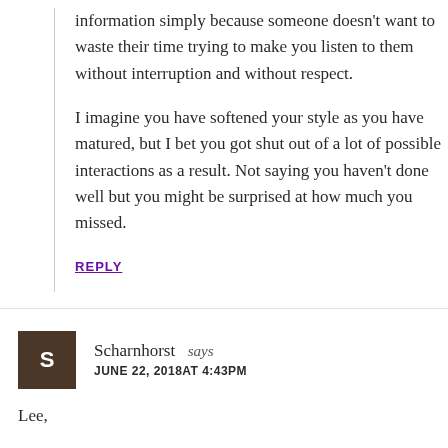information simply because someone doesn't want to waste their time trying to make you listen to them without interruption and without respect.
I imagine you have softened your style as you have matured, but I bet you got shut out of a lot of possible interactions as a result. Not saying you haven't done well but you might be surprised at how much you missed.
REPLY
Scharnhorst says
JUNE 22, 2018AT 4:43PM
Lee,
"They say how you do anything is how you do